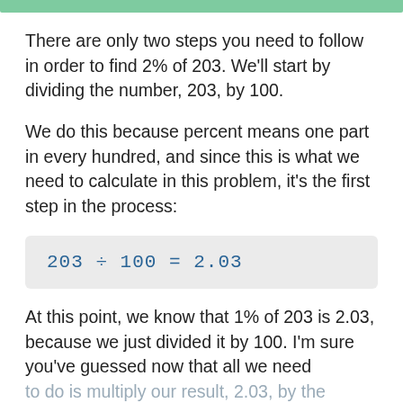There are only two steps you need to follow in order to find 2% of 203. We'll start by dividing the number, 203, by 100.
We do this because percent means one part in every hundred, and since this is what we need to calculate in this problem, it's the first step in the process:
At this point, we know that 1% of 203 is 2.03, because we just divided it by 100. I'm sure you've guessed now that all we need to do is multiply our result, 2.03, by the percentage we want to find, which is 2: